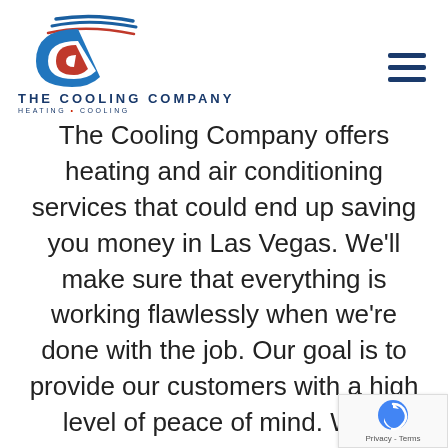[Figure (logo): The Cooling Company logo with blue and red swoosh C icon, text 'THE COOLING COMPANY' and 'HEATING·COOLING' below]
The Cooling Company offers heating and air conditioning services that could end up saving you money in Las Vegas. We'll make sure that everything is working flawlessly when we're done with the job. Our goal is to provide our customers with a high level of peace of mind. We'll answer your questions thoroughly and honestly so that you can make informed decisions.